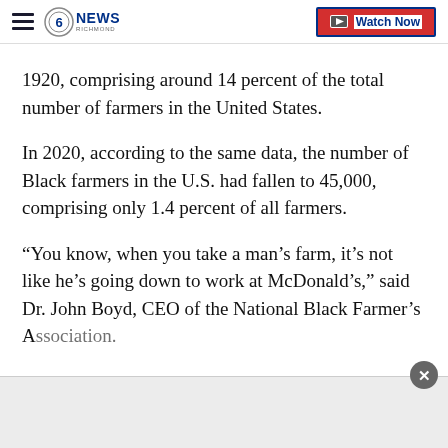CBS 6 News Richmond — Watch Now
1920, comprising around 14 percent of the total number of farmers in the United States.
In 2020, according to the same data, the number of Black farmers in the U.S. had fallen to 45,000, comprising only 1.4 percent of all farmers.
“You know, when you take a man’s farm, it’s not like he’s going down to work at McDonald’s,” said Dr. John Boyd, CEO of the National Black Farmer’s Association.